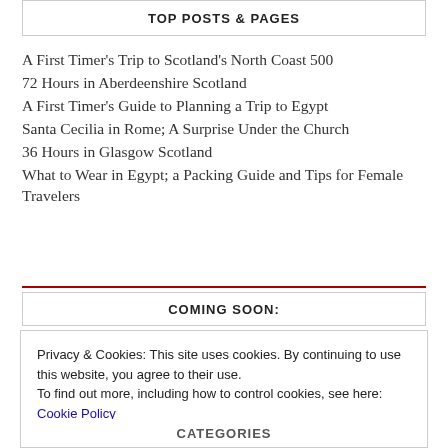TOP POSTS & PAGES
A First Timer's Trip to Scotland's North Coast 500
72 Hours in Aberdeenshire Scotland
A First Timer's Guide to Planning a Trip to Egypt
Santa Cecilia in Rome; A Surprise Under the Church
36 Hours in Glasgow Scotland
What to Wear in Egypt; a Packing Guide and Tips for Female Travelers
COMING SOON:
Privacy & Cookies: This site uses cookies. By continuing to use this website, you agree to their use.
To find out more, including how to control cookies, see here: Cookie Policy
Close and accept
CATEGORIES